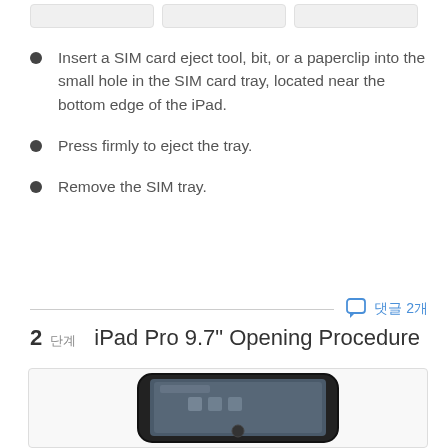[Figure (photo): Three device images shown partially at the top of the page (cropped at top)]
Insert a SIM card eject tool, bit, or a paperclip into the small hole in the SIM card tray, located near the bottom edge of the iPad.
Press firmly to eject the tray.
Remove the SIM tray.
댓글 2개
2 단계    iPad Pro 9.7" Opening Procedure
[Figure (photo): iPad Pro device shown at an angle, partially visible at bottom of page]